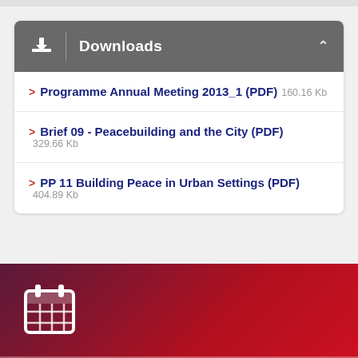Downloads
Programme Annual Meeting 2013_1 (PDF) 160.16 Kb
Brief 09 - Peacebuilding and the City (PDF) 329.66 Kb
PP 11 Building Peace in Urban Settings (PDF) 404.89 Kb
[Figure (illustration): Red-to-dark-purple gradient footer bar with a white calendar icon in the lower left corner]